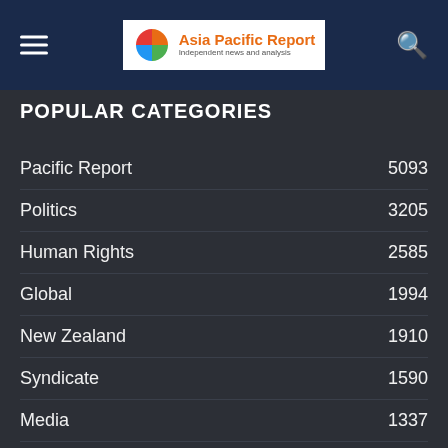Asia Pacific Report — Independent news and analysis
POPULAR CATEGORIES
Pacific Report  5093
Politics  3205
Human Rights  2585
Global  1994
New Zealand  1910
Syndicate  1590
Media  1337
RNZ Pacific  1310
Health and Fitness  1279
Coronavirus  1170
Papua New Guinea  1108